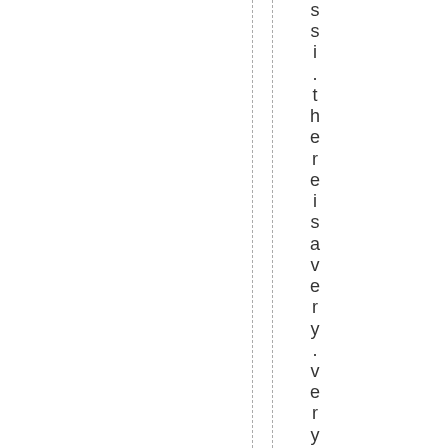ssi .there is a very. very interesti